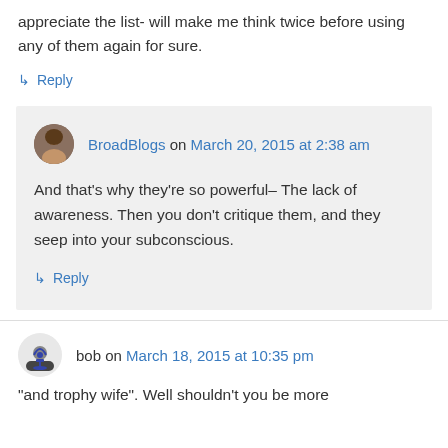appreciate the list- will make me think twice before using any of them again for sure.
↳ Reply
BroadBlogs on March 20, 2015 at 2:38 am
And that's why they're so powerful– The lack of awareness. Then you don't critique them, and they seep into your subconscious.
↳ Reply
bob on March 18, 2015 at 10:35 pm
“and trophy wife". Well shouldn't you be more